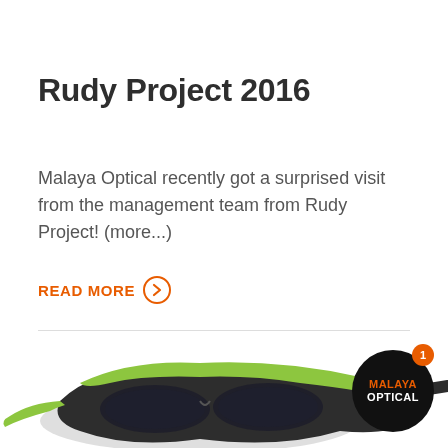Rudy Project 2016
Malaya Optical recently got a surprised visit from the management team from Rudy Project! (more...)
READ MORE →
[Figure (photo): Sports sunglasses/eyewear in green and dark gray/black color at the bottom of the page, partially visible. Malaya Optical logo badge in bottom-right corner — circular black badge with orange 'MALAYA' text and white 'OPTICAL' text, and an orange notification circle with the number 1.]